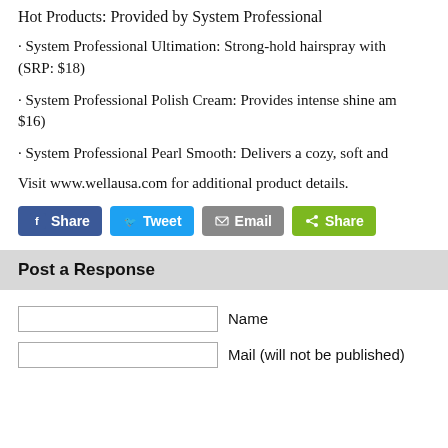Hot Products: Provided by System Professional
· System Professional Ultimation: Strong-hold hairspray with (SRP: $18)
· System Professional Polish Cream: Provides intense shine am $16)
· System Professional Pearl Smooth: Delivers a cozy, soft and
Visit www.wellausa.com for additional product details.
[Figure (other): Social sharing buttons: Facebook Share, Twitter Tweet, Email, and Share]
Post a Response
Name (form field)
Mail (will not be published) (form field)